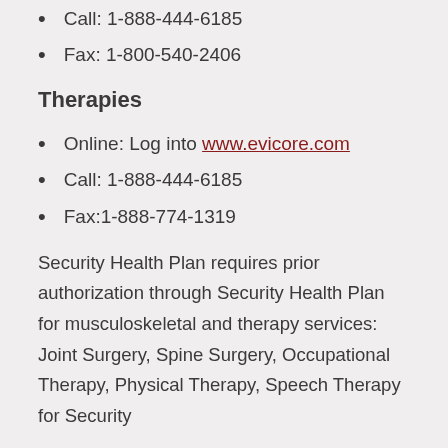Call: 1-888-444-6185
Fax: 1-800-540-2406
Therapies
Online: Log into www.evicore.com
Call: 1-888-444-6185
Fax:1-888-774-1319
Security Health Plan requires prior authorization through Security Health Plan for musculoskeletal and therapy services: Joint Surgery, Spine Surgery, Occupational Therapy, Physical Therapy, Speech Therapy for Security